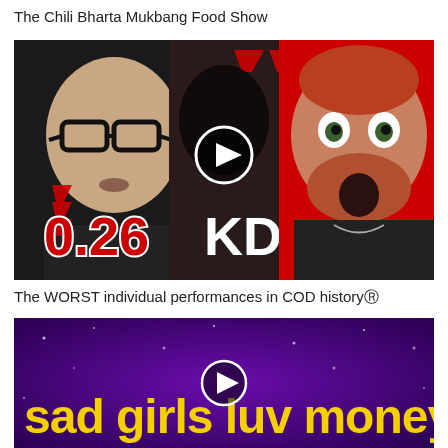The Chili Bharta Mukbang Food Show
[Figure (screenshot): YouTube video thumbnail showing two men (one with glasses and a microphone, one with red beard and surprised expression) with large red text '0.26 KD' and red downward chevrons, and a play button icon in the center]
The WORST individual performances in COD history®
[Figure (screenshot): YouTube video thumbnail with purple starry background and yellow text reading 'sad girls luv money' with a play button icon]